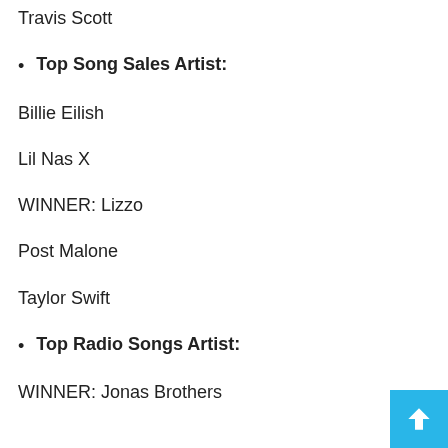Travis Scott
Top Song Sales Artist:
Billie Eilish
Lil Nas X
WINNER: Lizzo
Post Malone
Taylor Swift
Top Radio Songs Artist:
WINNER: Jonas Brothers